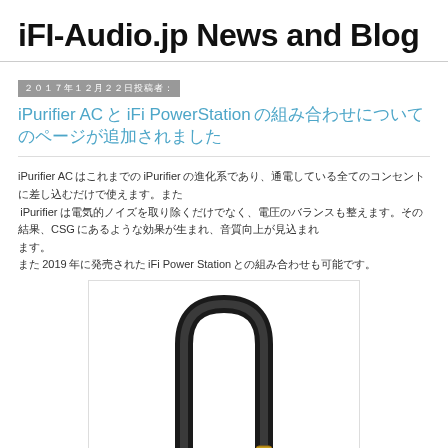iFI-Audio.jp News and Blog
2017年12月22日投稿者：
iPurifier ACとiFi PowerStationの組み合わせについて
iPurifier ACはこれまでのiPurifierの進化系であり、通電している全てのコンセントに差し込むだけで使えます。またiPurifierは電気的ノイズを取り除くだけでなく、電圧のバランスも整えます。その結果、CSGにあるような効果が生まれ、音質向上が見込めます。
また2019年に発売されたiFi Power Stationとの組み合わせも可能です。
[Figure (photo): Photo of a black audio cable with gold-tipped connector, folded in a U-shape against a white background]